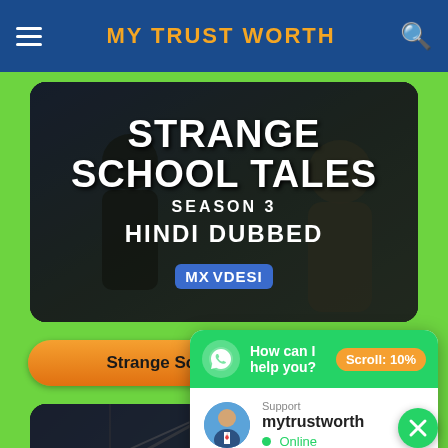MY TRUST WORTH
[Figure (screenshot): Movie thumbnail for Strange School Tales Season 3 Hindi Dubbed on MX Vdesi]
Strange School Tales - HINDI
[Figure (screenshot): Second movie/show thumbnail with bridge structure in dark background]
'My Trust Worth' uses c... experience on our websi...
Okay!
[Figure (screenshot): WhatsApp chat popup: 'How can I help you?' with Support mytrustworth Online, Scroll: 10%]